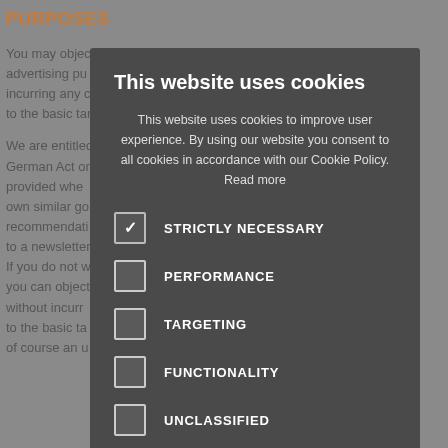PURPOSES
You may object to the use of your data for advertising purposes without incurring any costs according to the basic tar
We are entitled para. 3 of the German Act on address you provided when ing for our own similar go uct recommendations ve subscribed to a newsletter If you do not w ail from us, you can object at any time without incurr osts according to the basic ta pose. There is of course an u
This website uses cookies
This website uses cookies to improve user experience. By using our website you consent to all cookies in accordance with our Cookie Policy. Read more
STRICTLY NECESSARY
PERFORMANCE
TARGETING
FUNCTIONALITY
UNCLASSIFIED